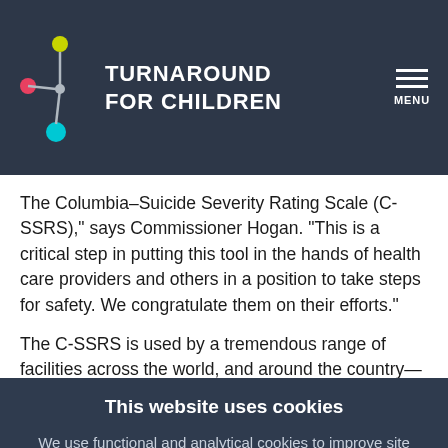TURNAROUND FOR CHILDREN
The Columbia–Suicide Severity Rating Scale (C-SSRS)," says Commissioner Hogan. “This is a critical step in putting this tool in the hands of health care providers and others in a position to take steps for safety. We congratulate them on their efforts.”
The C-SSRS is used by a tremendous range of facilities across the world, and around the country—
This website uses cookies
We use functional and analytical cookies to improve site functionality and personalize your user experience. By clicking Accept, you consent to the use of cookies. To learn more, please see our privacy policy.